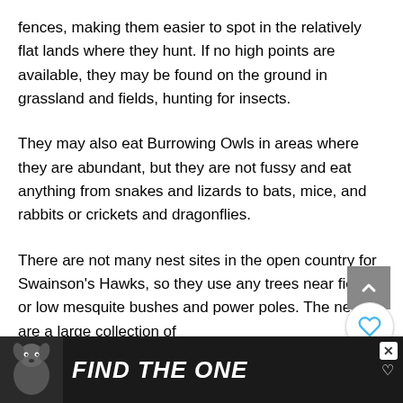fences, making them easier to spot in the relatively flat lands where they hunt. If no high points are available, they may be found on the ground in grassland and fields, hunting for insects.
They may also eat Burrowing Owls in areas where they are abundant, but they are not fussy and eat anything from snakes and lizards to bats, mice, and rabbits or crickets and dragonflies.
There are not many nest sites in the open country for Swainson's Hawks, so they use any trees near fields or low mesquite bushes and power poles. The nests are a large collection of
[Figure (other): Advertisement banner at bottom of page showing a dog image and text 'FIND THE ONE' with a heart symbol on dark background]